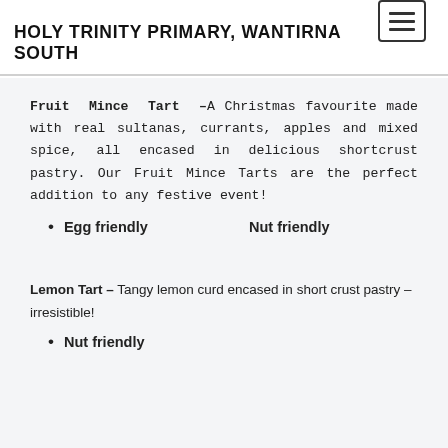HOLY TRINITY PRIMARY, WANTIRNA SOUTH
Fruit Mince Tart – A Christmas favourite made with real sultanas, currants, apples and mixed spice, all encased in delicious shortcrust pastry. Our Fruit Mince Tarts are the perfect addition to any festive event!
Egg friendly   Nut friendly
Lemon Tart – Tangy lemon curd encased in short crust pastry – irresistible!
Nut friendly